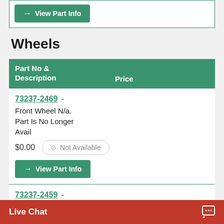→ View Part Info
Wheels
| Part No & Description | Price |
| --- | --- |
| 73237-2469 - Front Wheel N/a. Part Is No Longer Avail | $0.00 / Not Available |
| 73237-2459 - Rear Wheel N/a. Part Is No Longer Availa | $0.00 / Not Available |
Live Chat